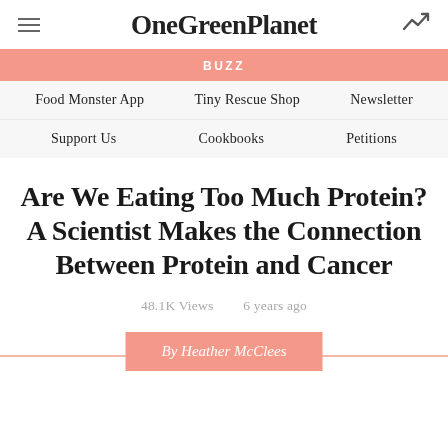OneGreenPlanet
BUZZ
Food Monster App   Tiny Rescue Shop   Newsletter   Support Us   Cookbooks   Petitions
Are We Eating Too Much Protein? A Scientist Makes the Connection Between Protein and Cancer
48.1K Views   6 years ago
By Heather McClees